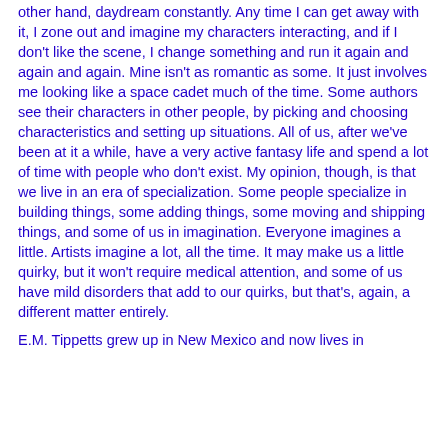other hand, daydream constantly. Any time I can get away with it, I zone out and imagine my characters interacting, and if I don't like the scene, I change something and run it again and again and again. Mine isn't as romantic as some. It just involves me looking like a space cadet much of the time. Some authors see their characters in other people, by picking and choosing characteristics and setting up situations. All of us, after we've been at it a while, have a very active fantasy life and spend a lot of time with people who don't exist. My opinion, though, is that we live in an era of specialization. Some people specialize in building things, some adding things, some moving and shipping things, and some of us in imagination. Everyone imagines a little. Artists imagine a lot, all the time. It may make us a little quirky, but it won't require medical attention, and some of us have mild disorders that add to our quirks, but that's, again, a different matter entirely.
E.M. Tippetts grew up in New Mexico and now lives in